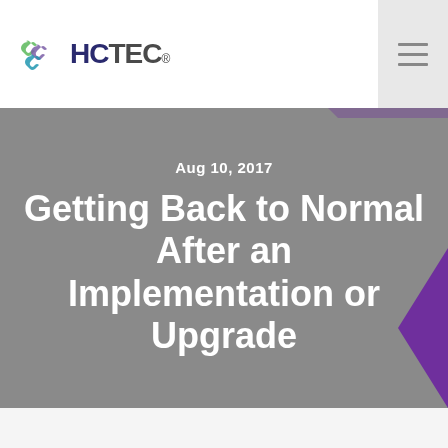HCTEC
Aug 10, 2017
Getting Back to Normal After an Implementation or Upgrade